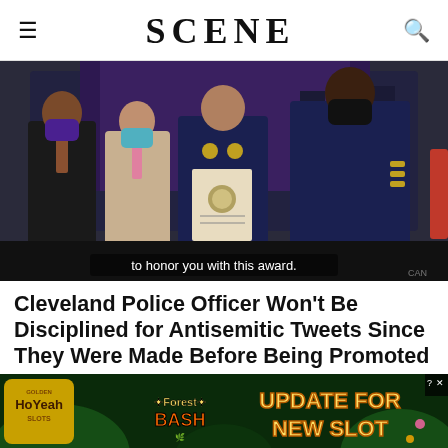SCENE
[Figure (photo): A police officer in uniform holds a certificate/award, flanked by a man in a dark suit and another man in a beige suit wearing masks. A high-ranking officer stands to the right. Subtitle reads: 'to honor you with this award.']
Cleveland Police Officer Won't Be Disciplined for Antisemitic Tweets Since They Were Made Before Being Promoted
[Figure (screenshot): Advertisement for a mobile game: Golden HoYeah Slots - Forest Bash. Text: 'UPDATE FOR NEW SLOT']